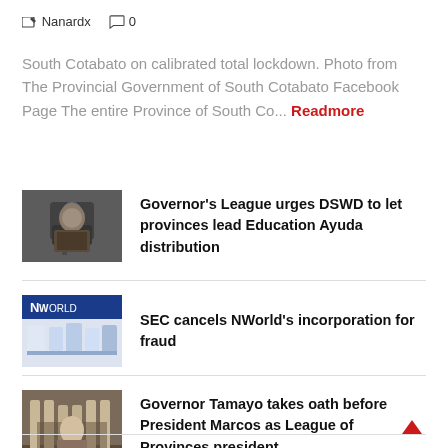Nanardx  0
South Cotabato on calibrated total lockdown. Photo from The Provincial Government of South Cotabato Facebook Page The entire Province of South Co... Readmore
[Figure (photo): Man speaking at a podium or event, dark jacket]
Governor's League urges DSWD to let provinces lead Education Ayuda distribution
[Figure (photo): NWorld products display with NWorld logo banner in background]
SEC cancels NWorld's incorporation for fraud
[Figure (photo): Formal ceremony scene, pillars and officials in formal attire]
Governor Tamayo takes oath before President Marcos as League of Provinces president